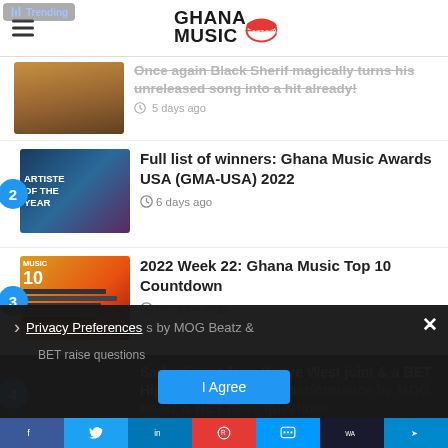GhanaMusic - Trending
Once again Black Sherif magically turns his unreleased song into a hit already! — 5 days ago
Full list of winners: Ghana Music Awards USA (GMA-USA) 2022 — 6 days ago
2022 Week 22: Ghana Music Top 10 Countdown — 6th June 2022
Sarkodie set for a Kanye West joint & a BET HipHop Awards stage performance by MOG Beatz & BET raise questions
Privacy Preferences — I Agree